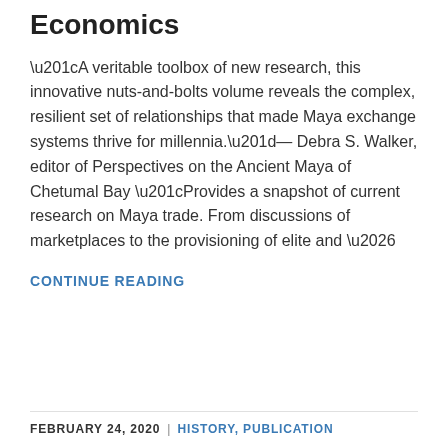Economics
“A veritable toolbox of new research, this innovative nuts-and-bolts volume reveals the complex, resilient set of relationships that made Maya exchange systems thrive for millennia.”—Debra S. Walker, editor of Perspectives on the Ancient Maya of Chetumal Bay “Provides a snapshot of current research on Maya trade. From discussions of marketplaces to the provisioning of elite and …
CONTINUE READING
FEBRUARY 24, 2020  |  HISTORY, PUBLICATION